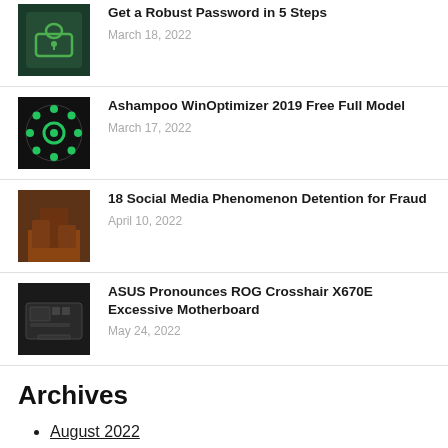Get a Robust Password in 5 Steps — March 18, 2022
Ashampoo WinOptimizer 2019 Free Full Model — March 17, 2022
18 Social Media Phenomenon Detention for Fraud — April 10, 2022
ASUS Pronounces ROG Crosshair X670E Excessive Motherboard — May 24, 2022
Archives
August 2022
July 2022
June 2022